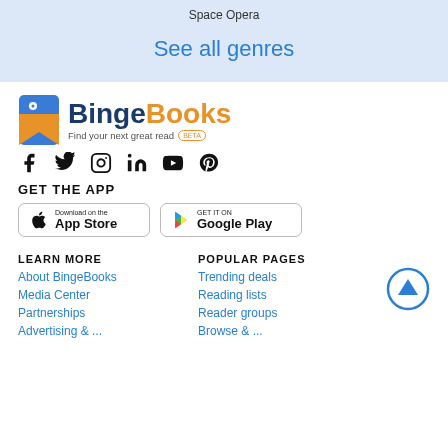Space Opera
See all genres
[Figure (logo): BingeBooks logo with bookmark icon and tagline 'Find your next great read BETA']
[Figure (infographic): Social media icons: Facebook, Twitter, Instagram, LinkedIn, YouTube, Pinterest]
GET THE APP
[Figure (other): App Store download button]
[Figure (other): Google Play download button]
LEARN MORE
About BingeBooks
Media Center
Partnerships
Advertising & ...
POPULAR PAGES
Trending deals
Reading lists
Reader groups
Browse & ...